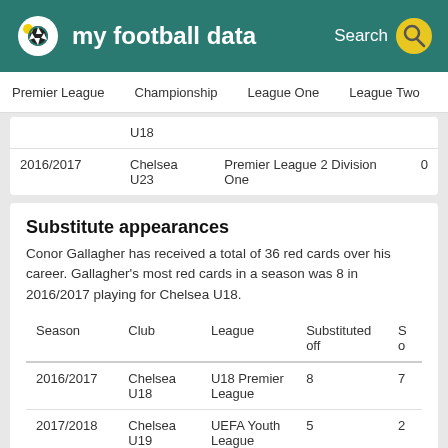my football data   Search
Premier League   Championship   League One   League Two
|  |  | U18 |  |
| --- | --- | --- | --- |
| 2016/2017 | Chelsea U23 | Premier League 2 Division One | 0 |
Substitute appearances
Conor Gallagher has received a total of 36 red cards over his career. Gallagher's most red cards in a season was 8 in 2016/2017 playing for Chelsea U18.
| Season | Club | League | Substituted off | S o |
| --- | --- | --- | --- | --- |
| 2016/2017 | Chelsea U18 | U18 Premier League | 8 | 7 |
| 2017/2018 | Chelsea U19 | UEFA Youth League | 5 | 2 |